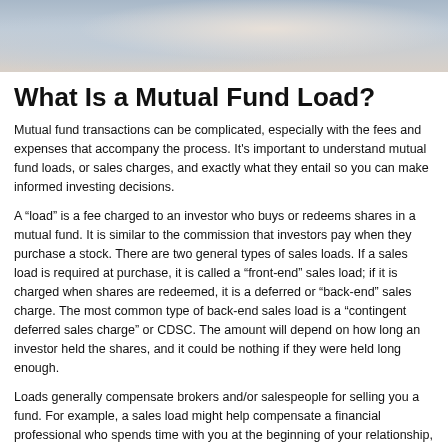[Figure (photo): Photo of two people working at a laptop, cropped at top of page]
What Is a Mutual Fund Load?
Mutual fund transactions can be complicated, especially with the fees and expenses that accompany the process. It's important to understand mutual fund loads, or sales charges, and exactly what they entail so you can make informed investing decisions.
A “load” is a fee charged to an investor who buys or redeems shares in a mutual fund. It is similar to the commission that investors pay when they purchase a stock. There are two general types of sales loads. If a sales load is required at purchase, it is called a “front-end” sales load; if it is charged when shares are redeemed, it is a deferred or “back-end” sales charge. The most common type of back-end sales load is a “contingent deferred sales charge” or CDSC. The amount will depend on how long an investor held the shares, and it could be nothing if they were held long enough.
Loads generally compensate brokers and/or salespeople for selling you a fund. For example, a sales load might help compensate a financial professional who spends time with you at the beginning of your relationship, learning about your objectives and helping with your investment program. A sales load could also compensate a broker for keeping in touch with you and answering any questions